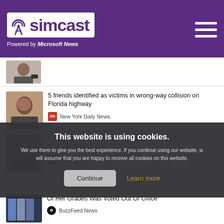simcast — Powered by Microsoft News
[Figure (screenshot): Partial news article thumbnail (cropped face with watch)]
[Figure (screenshot): News article: 5 friends identified as victims in wrong-way collision on Florida highway — New York Daily News]
[Figure (screenshot): News article: Haunting bystander video 'shows drowned Arizona woman's final moments' — Daily Mail]
This website is using cookies. We use them to give you the best experience. If you continue using our website, we will assume that you are happy to receive all cookies on this website.
[Figure (screenshot): News article: Of Her Grades Was Voted Out Of Office — BuzzFeed News]